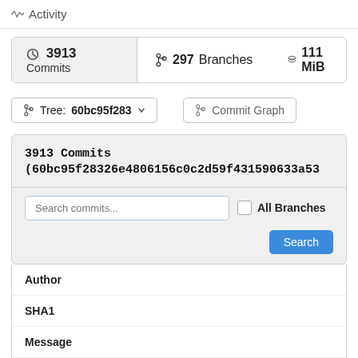Activity
3913 Commits  297 Branches  111 MiB
Tree: 60bc95f283
Commit Graph
3913 Commits (60bc95f28326e4806156c0c2d59f431590633a53
Search commits...  All Branches  Search
| Author | SHA1 | Message | Date |
| --- | --- | --- | --- |